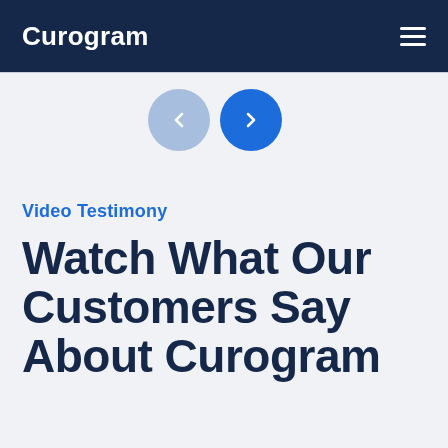Curogram
[Figure (screenshot): Carousel navigation buttons: a light blue circle with left arrow and a dark blue circle with right arrow]
Video Testimony
Watch What Our Customers Say About Curogram